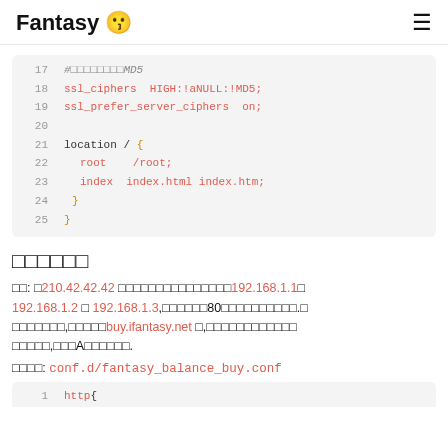Fantasy 😗 ≡
17   #□□□□□□□□□MD5
18   ssl_ciphers  HIGH:!aNULL:!MD5;
19   ssl_prefer_server_ciphers  on;
20
21   location / {
22       root    /root;
23       index  index.html index.htm;
24   }
25 }
□□□□□□
□□: □210.42.42.42 □□□□□□□□□□□□□□□192.168.1.1□192.168.1.2 □ 192.168.1.3,□□□□□□80□□□□□□□□□□.□□□□□□□□□,□□□□□buy.ifantasy.net □,□□□□□□□□□□□□□□□□□□,□□□A□□□□□□.
□□□□: conf.d/fantasy_balance_buy.conf
1   http {